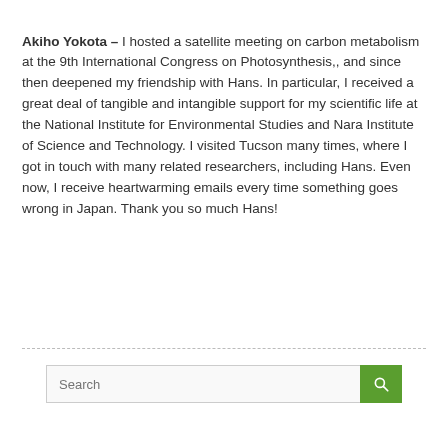Akiho Yokota – I hosted a satellite meeting on carbon metabolism at the 9th International Congress on Photosynthesis,, and since then deepened my friendship with Hans. In particular, I received a great deal of tangible and intangible support for my scientific life at the National Institute for Environmental Studies and Nara Institute of Science and Technology. I visited Tucson many times, where I got in touch with many related researchers, including Hans. Even now, I receive heartwarming emails every time something goes wrong in Japan. Thank you so much Hans!